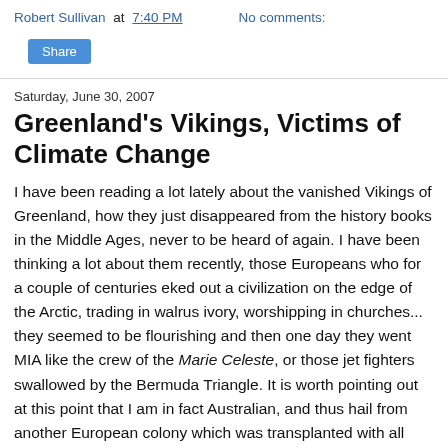Robert Sullivan at 7:40 PM   No comments:
Share
Saturday, June 30, 2007
Greenland's Vikings, Victims of Climate Change
I have been reading a lot lately about the vanished Vikings of Greenland, how they just disappeared from the history books in the Middle Ages, never to be heard of again. I have been thinking a lot about them recently, those Europeans who for a couple of centuries eked out a civilization on the edge of the Arctic, trading in walrus ivory, worshipping in churches... they seemed to be flourishing and then one day they went MIA like the crew of the Marie Celeste, or those jet fighters swallowed by the Bermuda Triangle. It is worth pointing out at this point that I am in fact Australian, and thus hail from another European colony which was transplanted with all things Christian and European, to be realigned and left the rest of and f